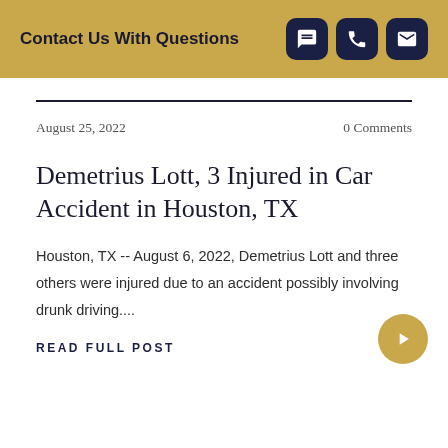Contact Us With Questions
August 25, 2022    0 Comments
Demetrius Lott, 3 Injured in Car Accident in Houston, TX
Houston, TX -- August 6, 2022, Demetrius Lott and three others were injured due to an accident possibly involving drunk driving....
READ FULL POST